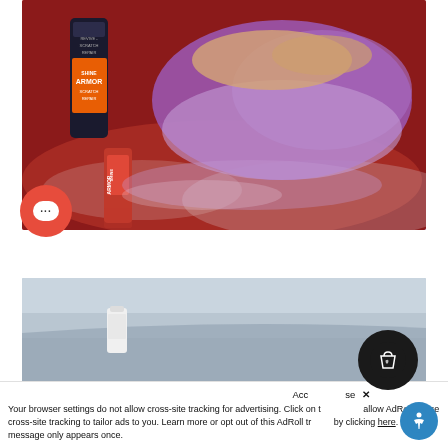[Figure (photo): A hand holding a purple microfiber cloth wiping a red car hood, with two Shine Armor scratch repair product bottles visible — one tall dark bottle standing upright and one small red bottle lying flat, reflecting on the glossy car surface.]
[Figure (photo): Partial view of a car roof or hood in blue/grey color with a small white bottle visible, partially obscured by a dark shopping cart icon circle overlay.]
Your browser settings do not allow cross-site tracking for advertising. Click on the arrow to allow AdRoll to use cross-site tracking to tailor ads to you. Learn more or opt out of this AdRoll tracking by clicking here. This message only appears once.